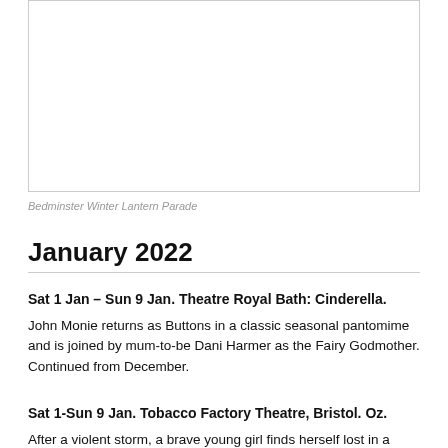[Figure (photo): A blank/white image placeholder with a thin border, representing the Bedminster Winter Lantern Parade photo]
Bedminster Winter Lantern Parade
January 2022
Sat 1 Jan – Sun 9 Jan. Theatre Royal Bath: Cinderella. John Monie returns as Buttons in a classic seasonal pantomime and is joined by mum-to-be Dani Harmer as the Fairy Godmother. Continued from December.
Sat 1-Sun 9 Jan. Tobacco Factory Theatre, Bristol. Oz. After a violent storm, a brave young girl finds herself lost in a